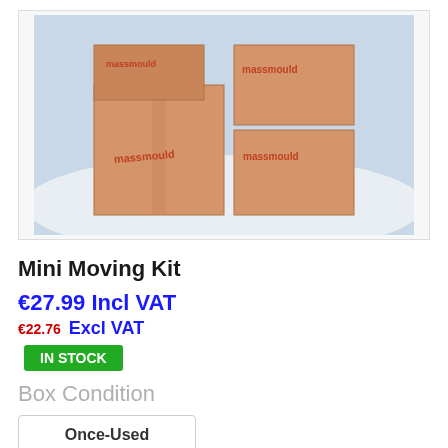[Figure (photo): Stack of brown cardboard boxes branded with 'massmould' in orange text, photographed outdoors on what appears to be a snowy surface.]
Mini Moving Kit
€27.99 Incl VAT
€22.76 Excl VAT
IN STOCK
Box Condition
Once-Used